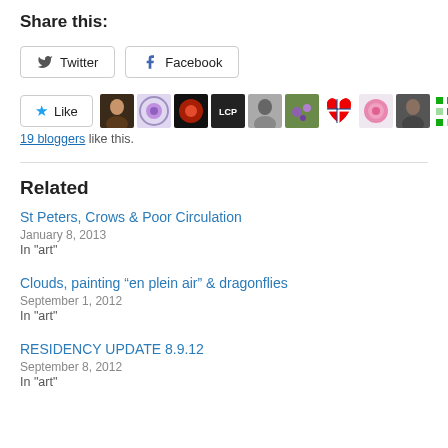Share this:
[Figure (screenshot): Twitter and Facebook share buttons]
[Figure (screenshot): Like button with 10 blogger avatars and '19 bloggers like this.' text]
Related
St Peters, Crows & Poor Circulation
January 8, 2013
In "art"
Clouds, painting “en plein air” & dragonflies
September 1, 2012
In "art"
RESIDENCY UPDATE 8.9.12
September 8, 2012
In "art"